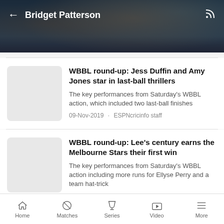Bridget Patterson
Overview  Matches  News  Photos
WBBL round-up: Jess Duffin and Amy Jones star in last-ball thrillers
The key performances from Saturday's WBBL action, which included two last-ball finishes
09-Nov-2019 · ESPNcricinfo staff
WBBL round-up: Lee's century earns the Melbourne Stars their first win
The key performances from Saturday's WBBL action including more runs for Ellyse Perry and a team hat-trick
02-Nov-2019 · ESPNcricinfo staff
Home  Matches  Series  Video  More